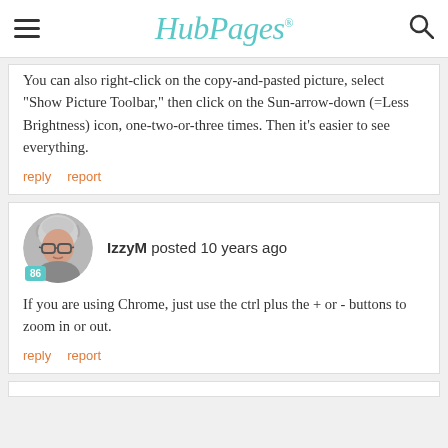HubPages
You can also right-click on the copy-and-pasted picture, select "Show Picture Toolbar," then click on the Sun-arrow-down (=Less Brightness) icon, one-two-or-three times.  Then it's easier to see everything.
reply   report
IzzyM posted 10 years ago
If you are using Chrome, just use the ctrl plus the + or - buttons to zoom in or out.
reply   report